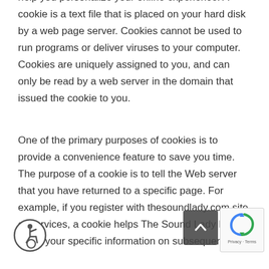help you personalize your online experience. A cookie is a text file that is placed on your hard disk by a web page server. Cookies cannot be used to run programs or deliver viruses to your computer. Cookies are uniquely assigned to you, and can only be read by a web server in the domain that issued the cookie to you.
One of the primary purposes of cookies is to provide a convenience feature to save you time. The purpose of a cookie is to tell the Web server that you have returned to a specific page. For example, if you register with thesoundlady.com site or services, a cookie helps The Sound Lady LLC recall your specific information on subsequent